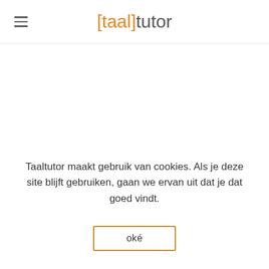[taal]tutor
Taaltutor maakt gebruik van cookies. Als je deze site blijft gebruiken, gaan we ervan uit dat je dat goed vindt.
oké